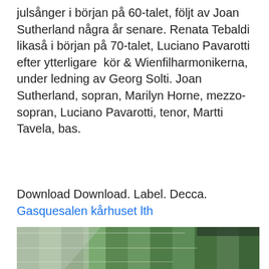julsånger i början på 60-talet, följt av Joan Sutherland några år senare. Renata Tebaldi likaså i början på 70-talet, Luciano Pavarotti efter ytterligare  kör & Wienfilharmonikerna, under ledning av Georg Solti. Joan Sutherland, sopran, Marilyn Horne, mezzo-sopran, Luciano Pavarotti, tenor, Martti Tavela, bas.
Download Download. Label. Decca.
Gasquesalen kårhuset lth
[Figure (photo): Aerial photograph of a football/soccer stadium field viewed at an angle, showing green and light green striped grass pattern with white lines, and surrounding areas.]